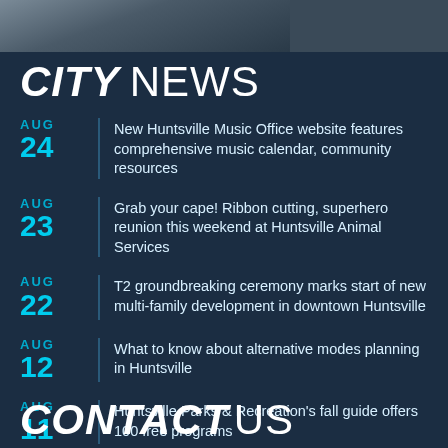[Figure (photo): Partial photo strip at top of page]
CITY NEWS
AUG 24 | New Huntsville Music Office website features comprehensive music calendar, community resources
AUG 23 | Grab your cape! Ribbon cutting, superhero reunion this weekend at Huntsville Animal Services
AUG 22 | T2 groundbreaking ceremony marks start of new multi-family development in downtown Huntsville
AUG 12 | What to know about alternative modes planning in Huntsville
AUG 11 | Huntsville Parks & Recreation's fall guide offers 100 free programs
CONTACT US